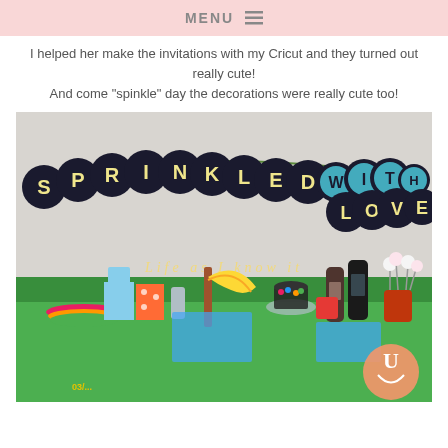MENU ☰
I helped her make the invitations with my Cricut and they turned out really cute!
And come "spinkle" day the decorations were really cute too!
[Figure (photo): Party decoration table with a 'SPRINKLED WITH LOVE' banner hanging above, and a green tablecloth-covered table holding colorful plates, gift bags, bananas, candy toppings, syrup bottles, and cake pops. Watermark reads 'Life as I know it'. Logo circle and timestamp visible in lower right area.]